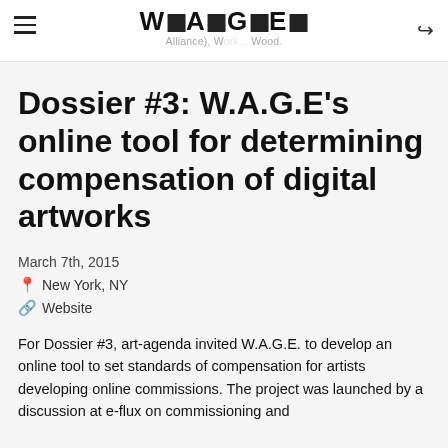≡  W■A■G■E■  Alliance), W... Wood.  ⊕
Dossier #3: W.A.G.E's online tool for determining compensation of digital artworks
March 7th, 2015
📍 New York, NY
🔗 Website
For Dossier #3, art-agenda invited W.A.G.E. to develop an online tool to set standards of compensation for artists developing online commissions. The project was launched by a discussion at e-flux on commissioning and